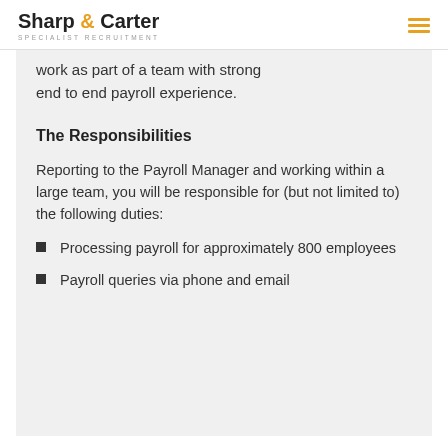Sharp & Carter SPECIALIST RECRUITMENT
work as part of a team with strong end to end payroll experience.
The Responsibilities
Reporting to the Payroll Manager and working within a large team, you will be responsible for (but not limited to) the following duties:
Processing payroll for approximately 800 employees
Payroll queries via phone and email